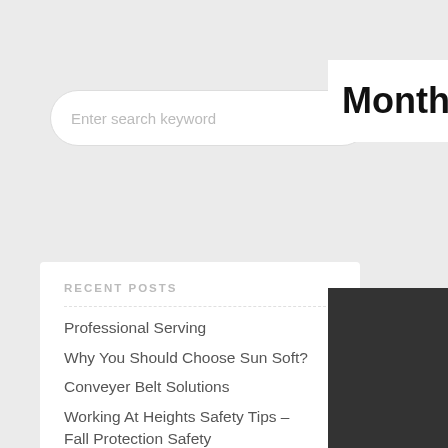Enter search keyword
RECENT POSTS
Professional Serving
Why You Should Choose Sun Soft?
Conveyer Belt Solutions
Working At Heights Safety Tips – Fall Protection Safety
Teamwork Is Always Better
ARCHIVES
August 2022
Month: March